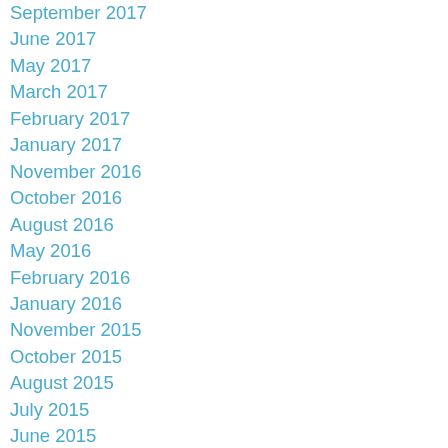September 2017
June 2017
May 2017
March 2017
February 2017
January 2017
November 2016
October 2016
August 2016
May 2016
February 2016
January 2016
November 2015
October 2015
August 2015
July 2015
June 2015
May 2015
April 2015
March 2015
February 2015